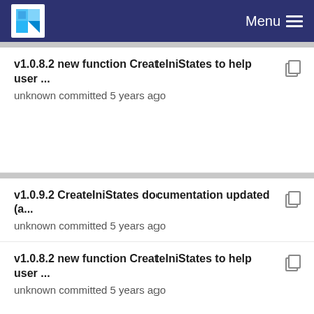Menu
v1.0.8.2 new function CreateIniStates to help user ...
unknown committed 5 years ago
v1.0.9.2 CreateIniStates documentation updated (a...
unknown committed 5 years ago
v1.0.8.2 new function CreateIniStates to help user ...
unknown committed 5 years ago
v1.0.9.16 new default values for ProdStore and Ro...
unknown committed 5 years ago
v1.0.8.2 new function CreateIniStates to help user ...
unknown committed 5 years ago